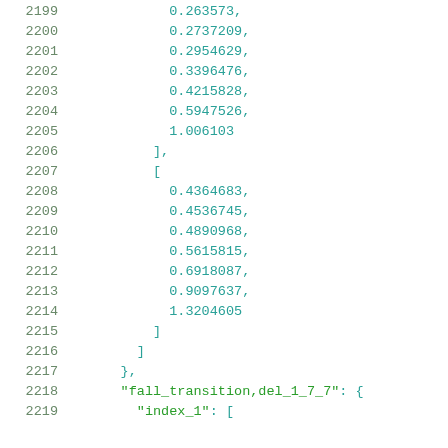2199    0.263573,
2200    0.2737209,
2201    0.2954629,
2202    0.3396476,
2203    0.4215828,
2204    0.5947526,
2205    1.006103
2206    ],
2207    [
2208    0.4364683,
2209    0.4536745,
2210    0.4890968,
2211    0.5615815,
2212    0.6918087,
2213    0.9097637,
2214    1.3204605
2215    ]
2216    ]
2217    },
2218    "fall_transition,del_1_7_7": {
2219    "index_1": [